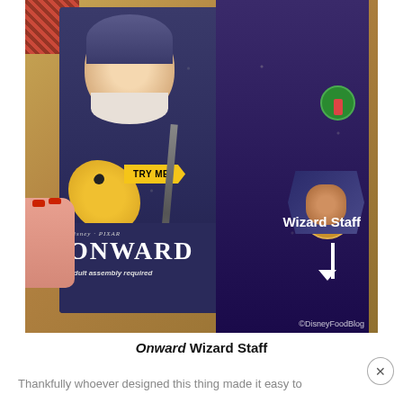[Figure (photo): Photo of a Disney Pixar Onward Wizard Staff toy held in hand at a store. The toy box shows Ian character from the movie, a yellow dragon creature, a furry giant, and features 'TRY ME!' badge. The bottom of the box has the Disney Pixar Onward logo and reads 'Wizard Staff' and 'Adult assembly required'. A watermark reads ©DisneyFoodBlog.]
Onward Wizard Staff
Thankfully whoever designed this thing made it easy to